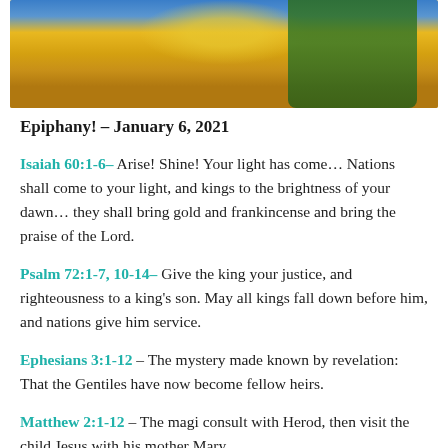[Figure (photo): Cropped portion of a colorful artwork showing blue, yellow/gold radiating pattern and green figure — likely a religious painting of the Nativity or Epiphany scene]
Epiphany! – January 6, 2021
Isaiah 60:1-6– Arise! Shine! Your light has come… Nations shall come to your light, and kings to the brightness of your dawn… they shall bring gold and frankincense and bring the praise of the Lord.
Psalm 72:1-7, 10-14– Give the king your justice, and righteousness to a king's son. May all kings fall down before him, and nations give him service.
Ephesians 3:1-12 – The mystery made known by revelation: That the Gentiles have now become fellow heirs.
Matthew 2:1-12 – The magi consult with Herod, then visit the child Jesus with his mother Mary.